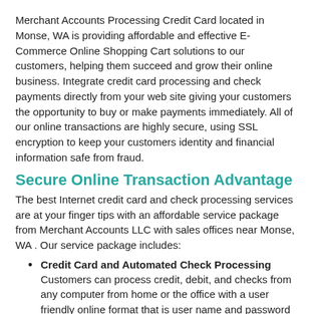Merchant Accounts Processing Credit Card located in Monse, WA is providing affordable and effective E-Commerce Online Shopping Cart solutions to our customers, helping them succeed and grow their online business. Integrate credit card processing and check payments directly from your web site giving your customers the opportunity to buy or make payments immediately. All of our online transactions are highly secure, using SSL encryption to keep your customers identity and financial information safe from fraud.
Secure Online Transaction Advantage
The best Internet credit card and check processing services are at your finger tips with an affordable service package from Merchant Accounts LLC with sales offices near Monse, WA . Our service package includes:
Credit Card and Automated Check Processing Customers can process credit, debit, and checks from any computer from home or the office with a user friendly online format that is user name and password protected.
Accepting All Major Credit Cards Customers will enjoy the option of payment by American Express, Visa, Master Card, Discover Card and many more credit purchasing options from your web site.